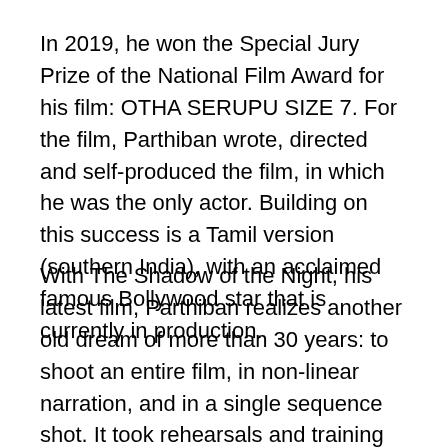In 2019, he won the Special Jury Prize of the National Film Award for his film: OTHA SERUPU SIZE 7. For the film, Parthiban wrote, directed and self-produced the film, in which he was the only actor. Building on this success is a Tamil version (southern India), with an acclaimed famous Bollywood star that is currently in production.
With The Shadow of the Night, his latest film, Parthiban realizes another old dream of more than 30 years: to shoot an entire film, in non-linear narration, and in a single sequence shot. It took rehearsals and training for 90 days, with a team of 350 people, to reach the final sequence plan. With the